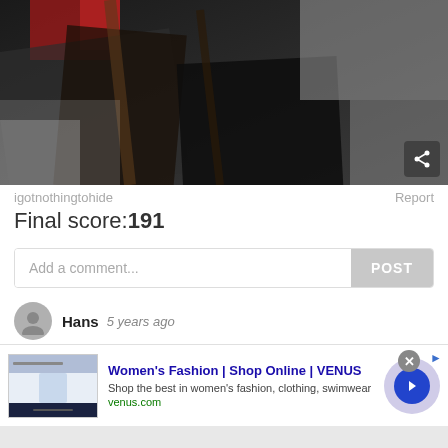[Figure (photo): Blurry dark photo showing what appears to be furniture or objects on a floor, with a red item visible at top and dark wooden/tiled surfaces]
igotnothingtohide
Report
Final score:191
Add a comment...
POST
Hans  5 years ago
[Figure (screenshot): Advertisement banner for Venus women's fashion website showing: Women's Fashion | Shop Online | VENUS, Shop the best in women's fashion, clothing, swimwear, venus.com]